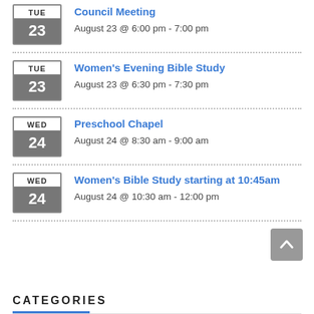Council Meeting – August 23 @ 6:00 pm - 7:00 pm
Women's Evening Bible Study – August 23 @ 6:30 pm - 7:30 pm
Preschool Chapel – August 24 @ 8:30 am - 9:00 am
Women's Bible Study starting at 10:45am – August 24 @ 10:30 am - 12:00 pm
CATEGORIES